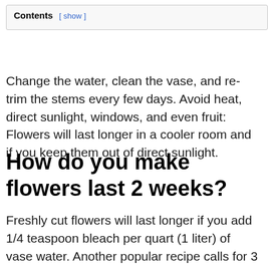Contents [ show ]
Change the water, clean the vase, and re-trim the stems every few days. Avoid heat, direct sunlight, windows, and even fruit: Flowers will last longer in a cooler room and if you keep them out of direct sunlight.
How do you make flowers last 2 weeks?
Freshly cut flowers will last longer if you add 1/4 teaspoon bleach per quart (1 liter) of vase water. Another popular recipe calls for 3 drops bleach and 1 teaspoon sugar in 1 quart (1 liter) water. This will also keep the